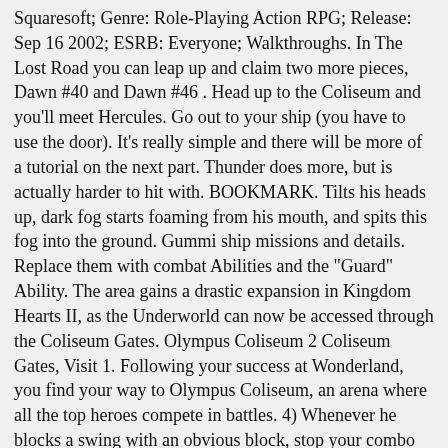Squaresoft; Genre: Role-Playing Action RPG; Release: Sep 16 2002; ESRB: Everyone; Walkthroughs. In The Lost Road you can leap up and claim two more pieces, Dawn #40 and Dawn #46 . Head up to the Coliseum and you'll meet Hercules. Go out to your ship (you have to use the door). It's really simple and there will be more of a tutorial on the next part. Thunder does more, but is actually harder to hit with. BOOKMARK. Tilts his heads up, dark fog starts foaming from his mouth, and spits this fog into the ground. Gummi ship missions and details. Replace them with combat Abilities and the "Guard" Ability. The area gains a drastic expansion in Kingdom Hearts II, as the Underworld can now be accessed through the Coliseum Gates. Olympus Coliseum 2 Coliseum Gates, Visit 1. Following your success at Wonderland, you find your way to Olympus Coliseum, an arena where all the top heroes compete in battles. 4) Whenever he blocks a swing with an obvious block, stop your combo and run. Jump o... Kingdom Hearts Wiki Guide. 4) Faux Block. Remember, hitting an enemy with a barrel is an instant